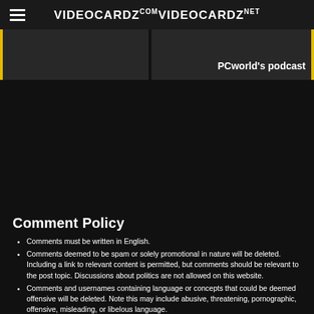VIDEOCARDZ.COM  VIDEOCARDZ.NET
[Figure (screenshot): Thumbnail strip with two video/article thumbnails, left one dark with yellow left border, right one showing partial text 'PCworld's podcast' with yellow right border]
Comment Policy
Comments must be written in English.
Comments deemed to be spam or solely promotional in nature will be deleted. Including a link to relevant content is permitted, but comments should be relevant to the post topic. Discussions about politics are not allowed on this website.
Comments and usernames containing language or concepts that could be deemed offensive will be deleted. Note this may include abusive, threatening, pornographic, offensive, misleading, or libelous language.
Comments complaining about the article subject or its source will be removed.
A failure to comply with these rules will result in a warning and, in extreme cases, a ban. Please also note that comments that attack